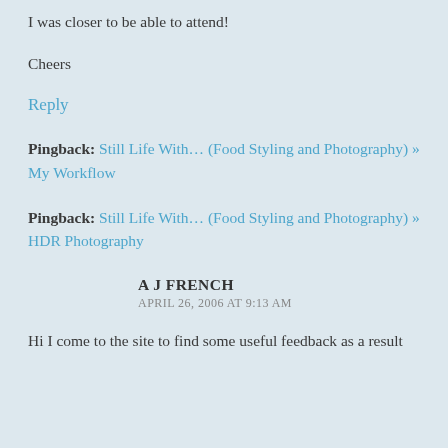I was closer to be able to attend!
Cheers
Reply
Pingback: Still Life With… (Food Styling and Photography) » My Workflow
Pingback: Still Life With… (Food Styling and Photography) » HDR Photography
A J FRENCH
APRIL 26, 2006 AT 9:13 AM
Hi I come to the site to find some useful feedback as a result